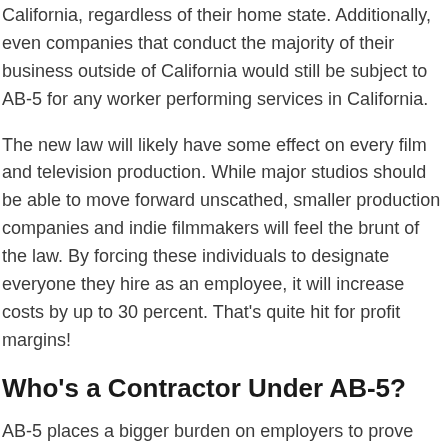California, regardless of their home state. Additionally, even companies that conduct the majority of their business outside of California would still be subject to AB-5 for any worker performing services in California.
The new law will likely have some effect on every film and television production. While major studios should be able to move forward unscathed, smaller production companies and indie filmmakers will feel the brunt of the law. By forcing these individuals to designate everyone they hire as an employee, it will increase costs by up to 30 percent. That's quite hit for profit margins!
Who's a Contractor Under AB-5?
AB-5 places a bigger burden on employers to prove that their